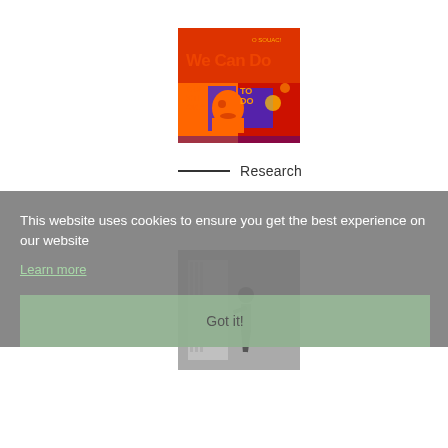[Figure (illustration): Colorful pop-art style image with red and orange background, text reading 'We Can Do', 'CUESTIONA', 'TODO', with graphic face silhouette]
— Research
This website uses cookies to ensure you get the best experience on our website
Learn more
[Figure (photo): Grayscale/muted photo of a person walking near a building, partially overlaid by cookie consent banner]
Got it!